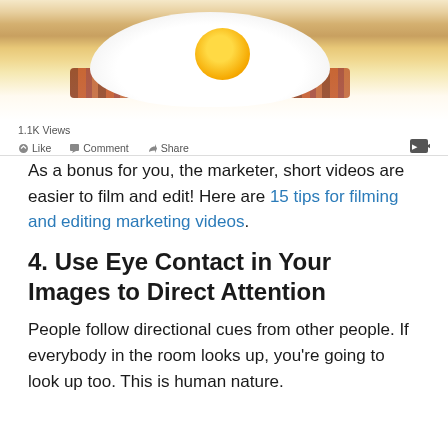[Figure (screenshot): Screenshot of a social media post showing a fried egg photo with 1.1K Views and Like, Comment, Share action buttons]
As a bonus for you, the marketer, short videos are easier to film and edit! Here are 15 tips for filming and editing marketing videos.
4. Use Eye Contact in Your Images to Direct Attention
People follow directional cues from other people. If everybody in the room looks up, you're going to look up too. This is human nature.